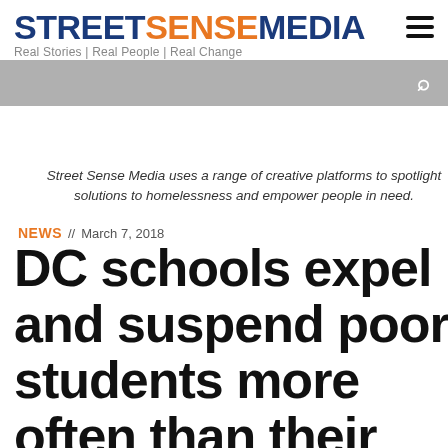STREET SENSE MEDIA — Real Stories | Real People | Real Change
Street Sense Media uses a range of creative platforms to spotlight solutions to homelessness and empower people in need.
NEWS // March 7, 2018
DC schools expel and suspend poor students more often than their peers